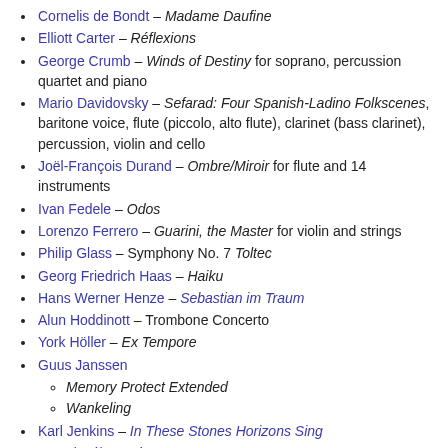Cornelis de Bondt – Madame Daufine
Elliott Carter – Réflexions
George Crumb – Winds of Destiny for soprano, percussion quartet and piano
Mario Davidovsky – Sefarad: Four Spanish-Ladino Folkscenes, baritone voice, flute (piccolo, alto flute), clarinet (bass clarinet), percussion, violin and cello
Joël-François Durand – Ombre/Miroir for flute and 14 instruments
Ivan Fedele – Odos
Lorenzo Ferrero – Guarini, the Master for violin and strings
Philip Glass – Symphony No. 7 Toltec
Georg Friedrich Haas – Haiku
Hans Werner Henze – Sebastian im Traum
Alun Hoddinott – Trombone Concerto
York Höller – Ex Tempore
Guus Janssen
Memory Protect Extended
Wankeling
Karl Jenkins – In These Stones Horizons Sing
Jan Klusák – Axis Temporum
Rolands Kronlaks – Paion